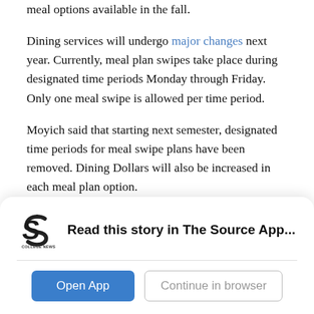meal options available in the fall.
Dining services will undergo major changes next year. Currently, meal plan swipes take place during designated time periods Monday through Friday. Only one meal swipe is allowed per time period.
Moyich said that starting next semester, designated time periods for meal swipe plans have been removed. Dining Dollars will also be increased in each meal plan option.
Dining Dollar balances will also be transferable from the fall to the spring semester. Previously, leftover Dining Dollars did not roll over to the next semester.
[Figure (logo): College News Source logo - stylized S shape in dark color with text COLLEGE NEWS SOURCE below]
Read this story in The Source App...